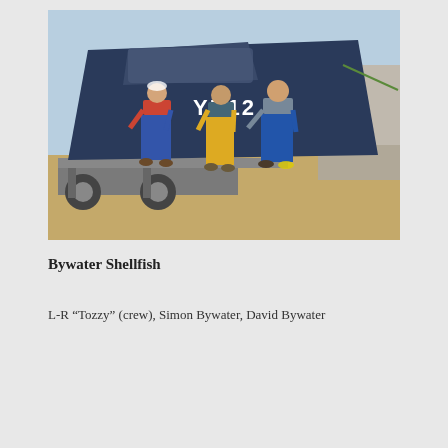[Figure (photo): Three men standing in front of a dark blue fishing boat marked 'YH12' on a trailer on a sandy beach/harbour area. Left man wears red top with blue dungarees, middle man wears yellow dungarees, right man wears a grey shirt with blue dungarees.]
Bywater Shellfish
L-R “Tozzy” (crew), Simon Bywater, David Bywater